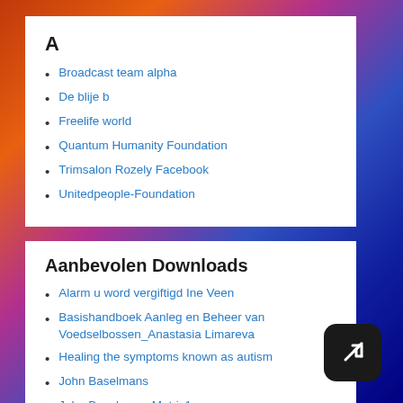A
Broadcast team alpha
De blije b
Freelife world
Quantum Humanity Foundation
Trimsalon Rozely Facebook
Unitedpeople-Foundation
Aanbevolen Downloads
Alarm u word vergiftigd Ine Veen
Basishandboek Aanleg en Beheer van Voedselbossen_Anastasia Limareva
Healing the symptoms known as autism
John Baselmans
John Baselmans Matrix1
Offer to leaders